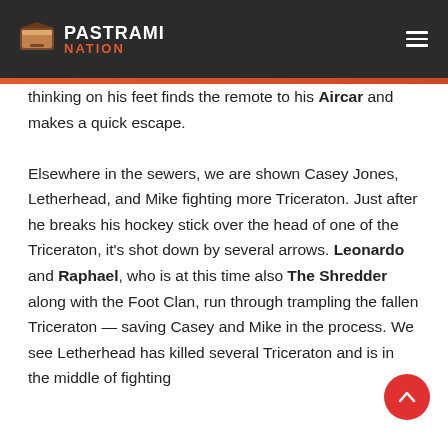PASTRAMI NATION
thinking on his feet finds the remote to his Aircar and makes a quick escape.

Elsewhere in the sewers, we are shown Casey Jones, Letherhead, and Mike fighting more Triceraton. Just after he breaks his hockey stick over the head of one of the Triceraton, it's shot down by several arrows. Leonardo and Raphael, who is at this time also The Shredder along with the Foot Clan, run through trampling the fallen Triceraton — saving Casey and Mike in the process. We see Letherhead has killed several Triceraton and is in the middle of fighting